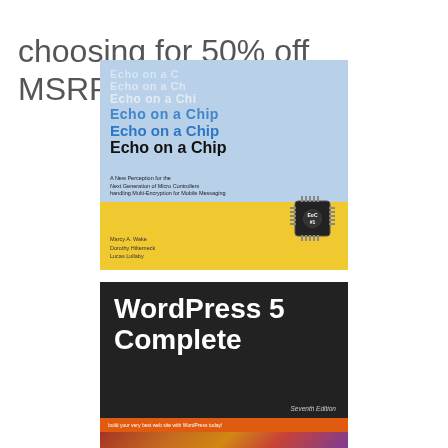choosing for 50% off MSRP.
[Figure (illustration): Book cover: 'Echo on a Chip' - A book about microcontrollers and cryptography, with a blue cover showing the title repeated in a fading/echoing style, a chip graphic labeled EoC #1, and a yellow bottom band with author names: Marcy A. Wake, Dorothy Hilterneck, Lucas Lullaby.]
[Figure (illustration): Book cover: 'WordPress 5 Complete, Seventh Edition' - Dark/black background with bold white title text, orange banner strip, and colorful swirl graphic at bottom.]